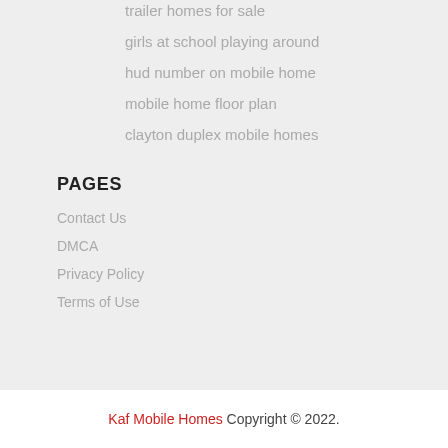trailer homes for sale
girls at school playing around
hud number on mobile home
mobile home floor plan
clayton duplex mobile homes
PAGES
Contact Us
DMCA
Privacy Policy
Terms of Use
Kaf Mobile Homes Copyright © 2022.